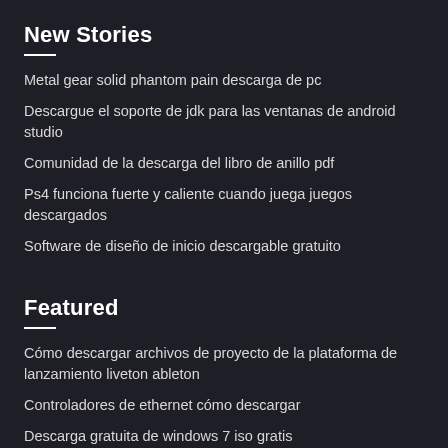New Stories
Metal gear solid phantom pain descarga de pc
Descargue el soporte de jdk para las ventanas de android studio
Comunidad de la descarga del libro de anillo pdf
Ps4 funciona fuerte y caliente cuando juega juegos descargados
Software de diseño de inicio descargable gratuito
Featured
Cómo descargar archivos de proyecto de la plataforma de lanzamiento liveton ableton
Controladores de ethernet cómo descargar
Descarga gratuita de windows 7 iso gratis
Descargar la aplicación de la máquina del tiempo
Descarga de archivos fallida prohibida